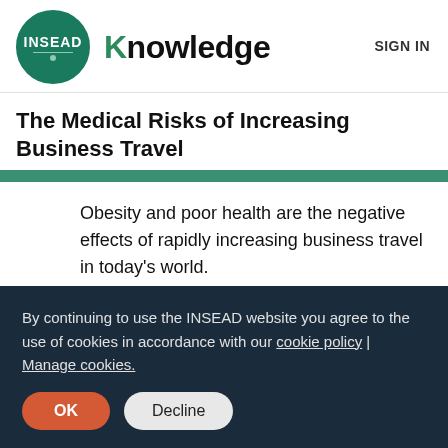[Figure (logo): INSEAD Knowledge logo with green circle and 'Knowledge' wordmark]
The Medical Risks of Increasing Business Travel
Obesity and poor health are the negative effects of rapidly increasing business travel in today's world.
By continuing to use the INSEAD website you agree to the use of cookies in accordance with our cookie policy | Manage cookies.